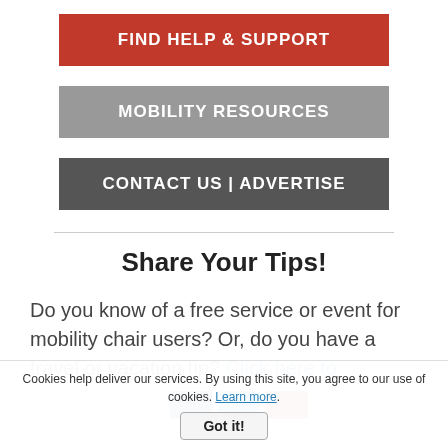FIND HELP & SUPPORT
MOBILITY RESOURCES
CONTACT US | ADVERTISE
Share Your Tips!
Do you know of a free service or event for mobility chair users? Or, do you have a travel or vacation tip? Click here to
Cookies help deliver our services. By using this site, you agree to our use of cookies. Learn more.